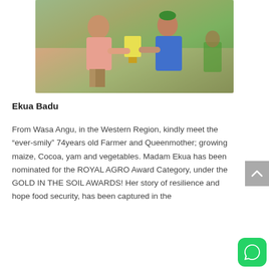[Figure (photo): Two people exchanging/presenting an award or trophy. One person in a pink shirt and another in blue traditional African attire with a green hat. Green and event banners in background.]
Ekua Badu
From Wasa Angu, in the Western Region, kindly meet the “ever-smily” 74years old Farmer and Queenmother; growing maize, Cocoa, yam and vegetables. Madam Ekua has been nominated for the ROYAL AGRO Award Category, under the GOLD IN THE SOIL AWARDS! Her story of resilience and hope food security, has been captured in the